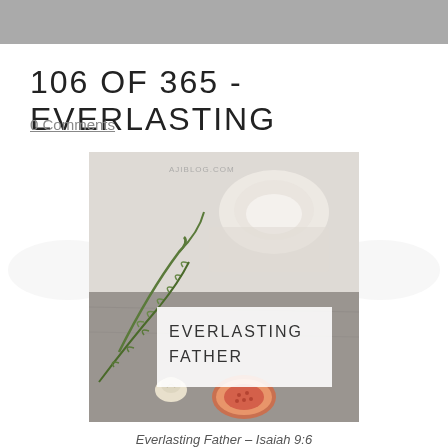106 OF 365 - EVERLASTING
0 Comments
[Figure (photo): Photo of rosemary sprigs, a fig cut in half, garlic, and a small white ceramic bowl on a grey surface, with a white text overlay reading 'EVERLASTING FATHER']
Everlasting Father – Isaiah 9:6